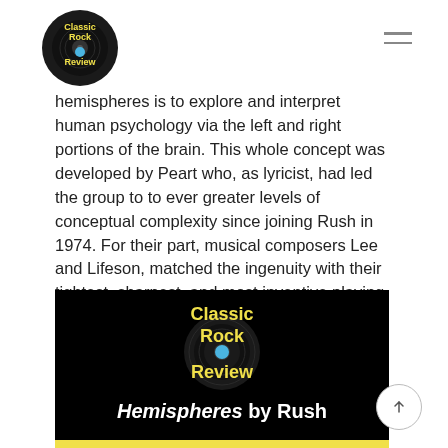Classic Rock Review
Hemispheres is to explore and interpret human psychology via the left and right portions of the brain. This whole concept was developed by Peart who, as lyricist, had led the group to to ever greater levels of conceptual complexity since joining Rush in 1974. For their part, musical composers Lee and Lifeson, matched the ingenuity with their tightest, sharpest, and most inventive playing ever with brilliant complexity.
[Figure (logo): Classic Rock Review logo on black background with text 'Hemispheres by Rush' below]